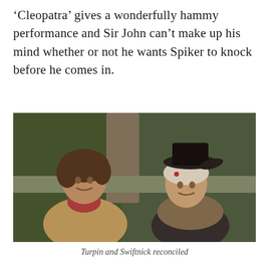'Cleopatra' gives a wonderfully hammy performance and Sir John can't make up his mind whether or not he wants Spiker to knock before he comes in.
[Figure (photo): Two people in period costume sitting outdoors in a wooded setting, facing each other. The person on the left has dishevelled curly brown hair and wears a reddish neckerchief and tan jacket. The person on the right wears a black hat and a white cloth tied around their head, dressed in dark clothing.]
Turpin and Swiftnick reconciled